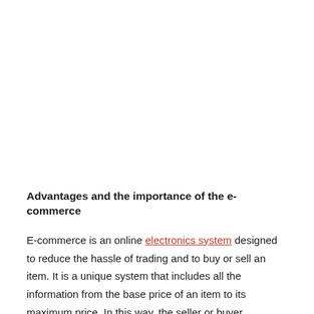Advantages and the importance of the e-commerce
E-commerce is an online electronics system designed to reduce the hassle of trading and to buy or sell an item. It is a unique system that includes all the information from the base price of an item to its maximum price. In this way, the seller or buyer of an item can determine its price depending on the quality of